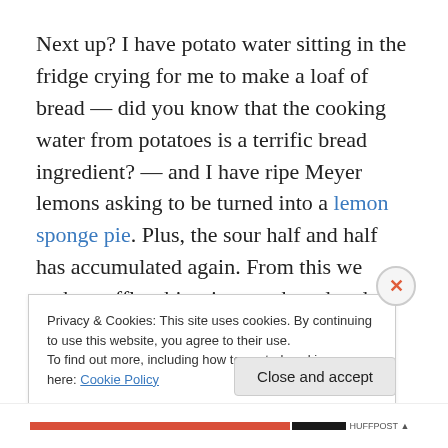Next up? I have potato water sitting in the fridge crying for me to make a loaf of bread — did you know that the cooking water from potatoes is a terrific bread ingredient? — and I have ripe Meyer lemons asking to be turned into a lemon sponge pie. Plus, the sour half and half has accumulated again. From this we make waffles, biscuits, cornbread and muffins: because I got a box of organic pumpkin puree from Grocery Outlet this week we'll
Privacy & Cookies: This site uses cookies. By continuing to use this website, you agree to their use.
To find out more, including how to control cookies, see here: Cookie Policy
Close and accept